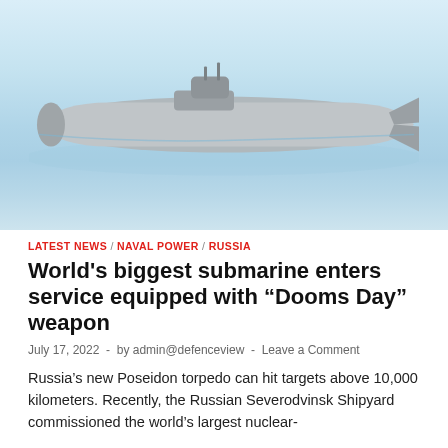[Figure (photo): Side-view illustration of a large Russian nuclear submarine surfacing on calm water with a light blue sky background.]
LATEST NEWS / NAVAL POWER / RUSSIA
World's biggest submarine enters service equipped with “Dooms Day” weapon
July 17, 2022  -  by admin@defenceview  -  Leave a Comment
Russia’s new Poseidon torpedo can hit targets above 10,000 kilometers. Recently, the Russian Severodvinsk Shipyard commissioned the world’s largest nuclear-